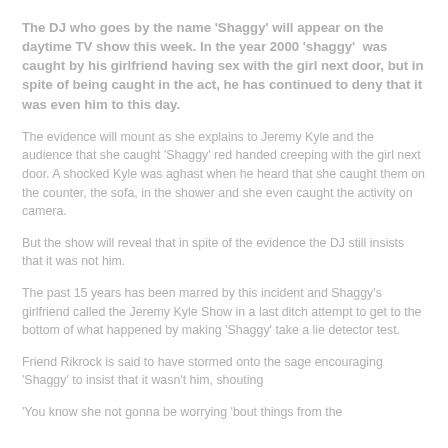The DJ who goes by the name 'Shaggy' will appear on the daytime TV show this week. In the year 2000 'shaggy'  was caught by his girlfriend having sex with the girl next door, but in spite of being caught in the act, he has continued to deny that it was even him to this day.
The evidence will mount as she explains to Jeremy Kyle and the audience that she caught 'Shaggy' red handed creeping with the girl next door. A shocked Kyle was aghast when he heard that she caught them on the counter, the sofa, in the shower and she even caught the activity on camera.
But the show will reveal that in spite of the evidence the DJ still insists that it was not him.
The past 15 years has been marred by this incident and Shaggy's girlfriend called the Jeremy Kyle Show in a last ditch attempt to get to the bottom of what happened by making 'Shaggy' take a lie detector test.
Friend Rikrock is said to have stormed onto the sage encouraging 'Shaggy' to insist that it wasn't him, shouting
'You know she not gonna be worrying 'bout things from the